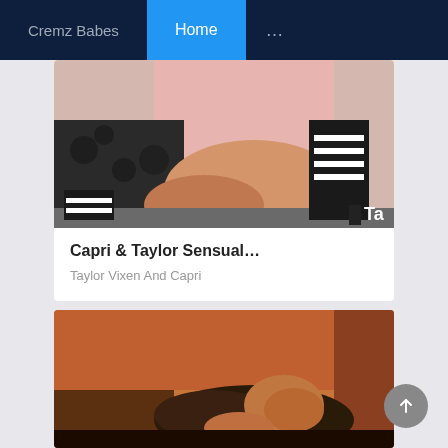Cremz Babes | Home | ...
[Figure (photo): Photo of two women's legs and high-heeled shoes with leopard print and striped pattern, with watermark 'Ta' in bottom right]
Capri & Taylor Sensual…
Taylor Vixen And Capri
[Figure (photo): Photo with warm orange/brown tones showing a person lying down, darkened bedroom scene]